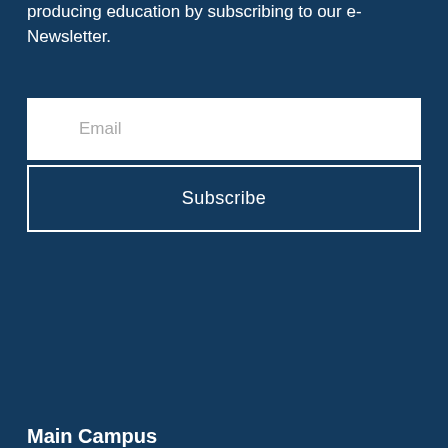producing education by subscribing to our e-Newsletter.
[Figure (screenshot): Email input field with white background and placeholder text 'Email']
[Figure (screenshot): Subscribe button with dark navy background and white border, white text 'Subscribe']
Main Campus